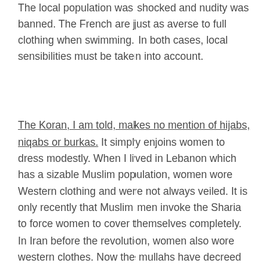The local population was shocked and nudity was banned. The French are just as averse to full clothing when swimming. In both cases, local sensibilities must be taken into account.
The Koran, I am told, makes no mention of hijabs, niqabs or burkas. It simply enjoins women to dress modestly. When I lived in Lebanon which has a sizable Muslim population, women wore Western clothing and were not always veiled. It is only recently that Muslim men invoke the Sharia to force women to cover themselves completely.
In Iran before the revolution, women also wore western clothes. Now the mullahs have decreed that women who do not wear the hijab on the street must be arrested. I even notice that in current Iranian films women and even little girls are shown wearing shawls and head covering inside their own homes. Iranian men are not allowed to see